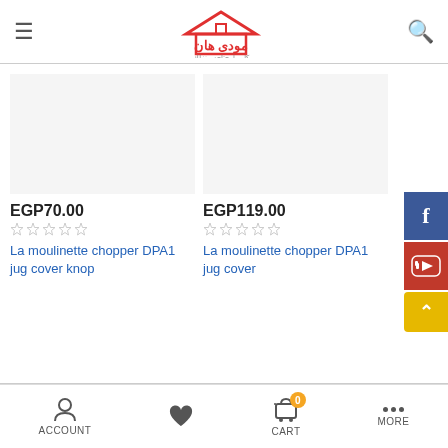[Figure (logo): Mody Han Arabic e-commerce store logo with house icon in red]
EGP70.00
EGP119.00
La moulinette chopper DPA1 jug cover knop
La moulinette chopper DPA1 jug cover
ACCOUNT  CART  MORE